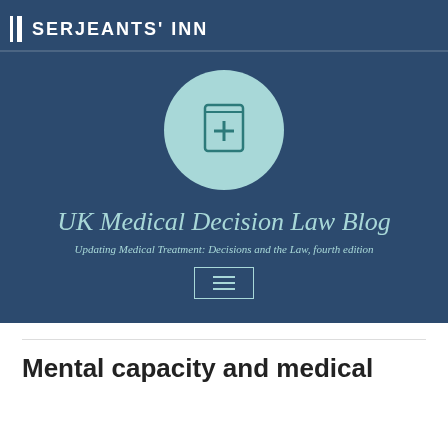SERJEANTS' INN
[Figure (logo): Medical book with a cross icon inside a light teal circle, set against a dark blue background]
UK Medical Decision Law Blog
Updating Medical Treatment: Decisions and the Law, fourth edition
[Figure (other): Hamburger menu button with three horizontal lines, bordered in teal]
Mental capacity and medical